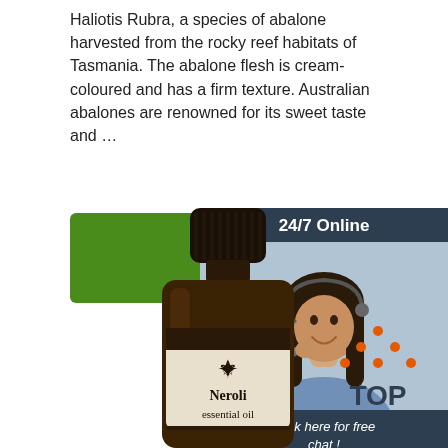Haliotis Rubra, a species of abalone harvested from the rocky reef habitats of Tasmania. The abalone flesh is cream-coloured and has a firm texture. Australian abalones are renowned for its sweet taste and …
[Figure (other): Green 'Get Price' button]
[Figure (other): 24/7 Online chat widget with customer service representative photo, 'Click here for free chat!' text and orange QUOTATION button]
[Figure (photo): Neroli essential oil dark amber glass bottle with cream label showing fleur-de-lis symbol and text 'Neroli essential oil']
[Figure (other): Orange and dark 'TOP' back-to-top icon with dots forming an upward triangle above the word TOP]